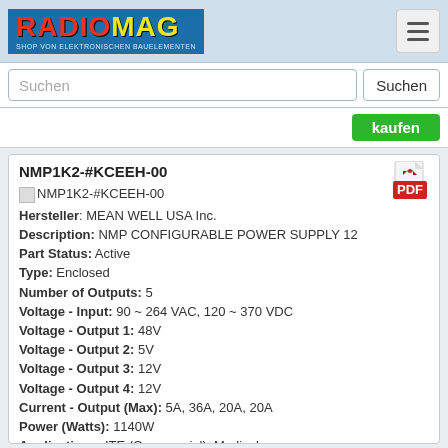RADIOMAG - SHOP VON ELEKTRONISCHEN BAUELEMENTEN
Suchen
kaufen
NMP1K2-#KCEEH-00
[Figure (other): Small image thumbnail for NMP1K2-#KCEEH-00 product]
Hersteller: MEAN WELL USA Inc.
Description: NMP CONFIGURABLE POWER SUPPLY 12
Part Status: Active
Type: Enclosed
Number of Outputs: 5
Voltage - Input: 90 ~ 264 VAC, 120 ~ 370 VDC
Voltage - Output 1: 48V
Voltage - Output 2: 5V
Voltage - Output 3: 12V
Voltage - Output 4: 12V
Current - Output (Max): 5A, 36A, 20A, 20A
Power (Watts): 1140W
Applications: ITE (Commercial), Medical
Voltage - Isolation: 4kV
Efficiency: 88.5%
Operating Temperature: -30°C ~ 70°C (With Derating)
Feature: Adjustable Output level Sharing PFC